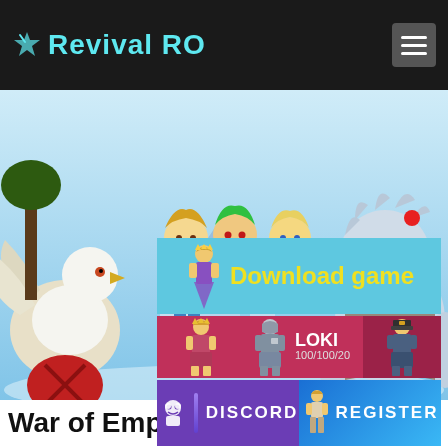Revival RO
[Figure (illustration): Hero banner with anime-style game characters: a blonde swordsman, green-haired mage, red-outfit female character, blonde priest, a large yeti-like monster, and a griffin/eagle creature on the left with a red shield. Sky and icy castle background.]
[Figure (illustration): Download game button banner with teal background, game character sprite, and yellow bold text 'Download game']
[Figure (illustration): Server info row: pink/red background with two character sprites and white text 'LOKI 100/100/20']
[Figure (illustration): Discord and Register buttons row: purple Discord button with robot icon and blue Register button with character sprite]
War of Emperium Battle Report